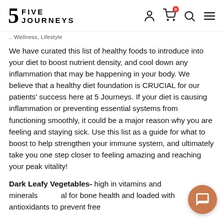5 FIVE JOURNEYS — navigation with person, cart (0), search, menu icons
.. Wellness, Lifestyle
We have curated this list of healthy foods to introduce into your diet to boost nutrient density, and cool down any inflammation that may be happening in your body. We believe that a healthy diet foundation is CRUCIAL for our patients' success here at 5 Journeys. If your diet is causing inflammation or preventing essential systems from functioning smoothly, it could be a major reason why you are feeling and staying sick. Use this list as a guide for what to boost to help strengthen your immune system, and ultimately take you one step closer to feeling amazing and reaching your peak vitality!
Dark Leafy Vegetables- high in vitamins and minerals … al for bone health and loaded with antioxidants to prevent free